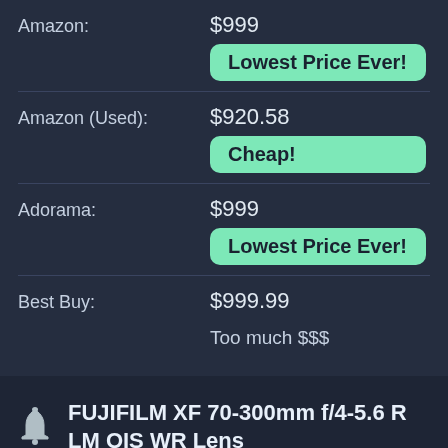Amazon: $999 Lowest Price Ever!
Amazon (Used): $920.58 Cheap!
Adorama: $999 Lowest Price Ever!
Best Buy: $999.99 Too much $$$
FUJIFILM XF 70-300mm f/4-5.6 R LM OIS WR Lens
model number: 16666868
asin: B08TMZ59ZW